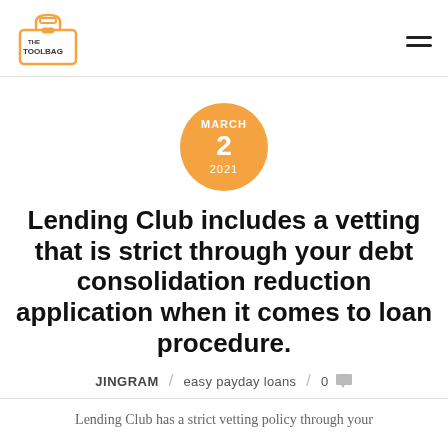THE TOOLBAG [logo] / hamburger menu
MARCH 2 2021
Lending Club includes a vetting that is strict through your debt consolidation reduction application when it comes to loan procedure.
JINGRAM / easy payday loans / 0
Lending Club has a strict vetting policy through your